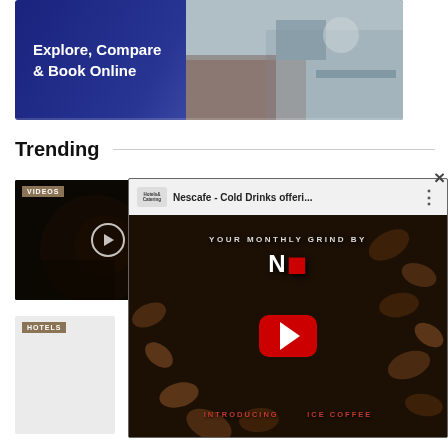[Figure (screenshot): Advertisement banner with dark blue gradient background. Text reads 'Explore, Compare & Book Online'. Right side shows office/workspace photo with people.]
Trending
[Figure (screenshot): Video thumbnail card labeled VIDEOS showing dark background with a play button circle.]
NESCAFÉ® SPOTLIGHT ON
[Figure (screenshot): YouTube video popup overlay showing 'Nescafe - Cold Drinks offeri...' with channel logo, three-dot menu icon, red YouTube play button, coffee beans background, text: YOUR MONTHLY GRIND BY N... INTRODUCING ... ICE COFFEE]
[Figure (screenshot): Card labeled HOTELS showing white/grey background.]